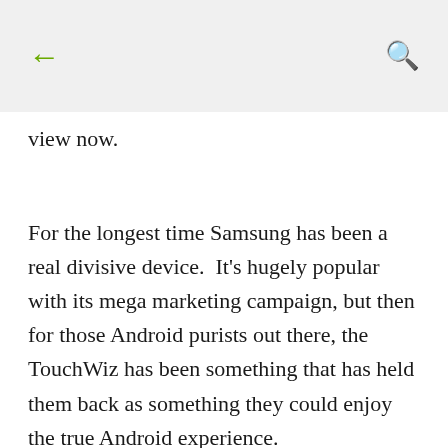← (back arrow)   🔍 (search icon)
view now.
For the longest time Samsung has been a real divisive device.  It's hugely popular with its mega marketing campaign, but then for those Android purists out there, the TouchWiz has been something that has held them back as something they could enjoy the true Android experience.
And for a while, they were right - it used to be a bit of a bloated device.  Samsung makes some great hardware, but they didn't marry it too well with software.